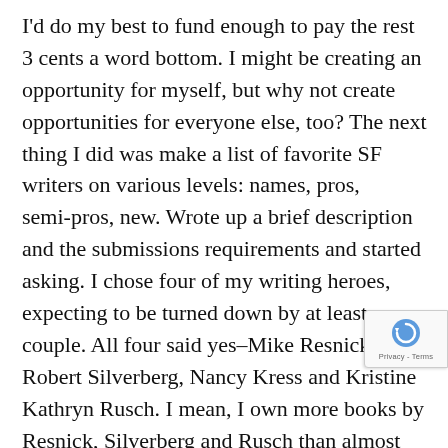I'd do my best to fund enough to pay the rest 3 cents a word bottom. I might be creating an opportunity for myself, but why not create opportunities for everyone else, too? The next thing I did was make a list of favorite SF writers on various levels: names, pros, semi-pros, new. Wrote up a brief description and the submissions requirements and started asking. I chose four of my writing heroes, expecting to be turned down by at least a couple. All four said yes–Mike Resnick, Robert Silverberg, Nancy Kress and Kristine Kathryn Rusch. I mean, I own more books by Resnick, Silverberg and Rusch than almost any other writer except Card and Zahn and my Kress library is growing fast. Wow! After that, bringing aboard writers was easy. Only a few said “no” and that was due to other obligations. And s wound up with an incredible list of names like Je Brozek, Cat Rambo, Jamie Todd Rubin, Jean Johnson,
[Figure (other): reCAPTCHA badge with Privacy - Terms text]